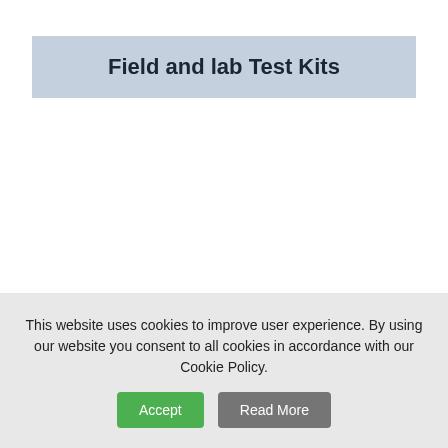Field and lab Test Kits
This website uses cookies to improve user experience. By using our website you consent to all cookies in accordance with our Cookie Policy.
Accept
Read More